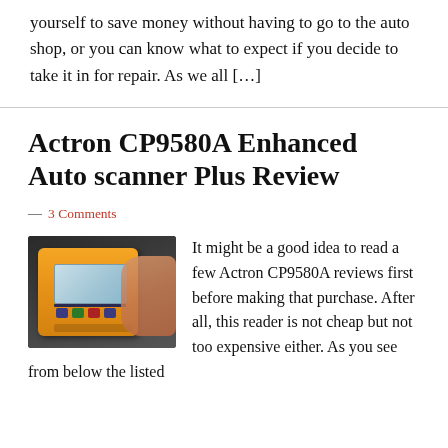yourself to save money without having to go to the auto shop, or you can know what to expect if you decide to take it in for repair. As we all […]
Actron CP9580A Enhanced Auto scanner Plus Review
— 3 Comments
[Figure (photo): A hand holding an orange/yellow Actron CP9580A OBD diagnostic scanner device with a blue screen display and colored buttons, photographed against a dark background.]
It might be a good idea to read a few Actron CP9580A reviews first before making that purchase. After all, this reader is not cheap but not too expensive either. As you see from below the listed